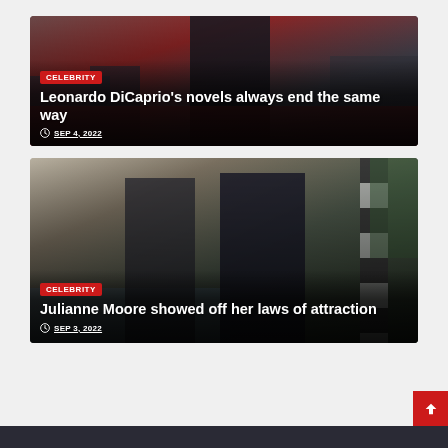[Figure (photo): Celebrity news article card 1: Leonardo DiCaprio on a red carpet in a tuxedo, surrounded by crowd. Category badge: CELEBRITY. Title: Leonardo DiCaprio's novels always end the same way. Date: SEP 4, 2022.]
[Figure (photo): Celebrity news article card 2: Julianne Moore with sunglasses posing with a man in a suit, outdoor Venice setting with striped pole visible. Category badge: CELEBRITY. Title: Julianne Moore showed off her laws of attraction. Date: SEP 3, 2022.]